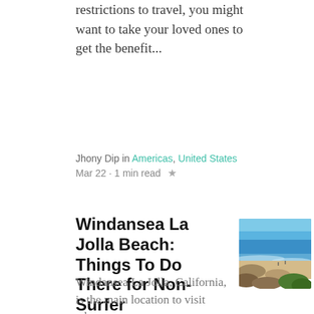restrictions to travel, you might want to take your loved ones to get the benefit...
Jhony Dip in Americas, United States
Mar 22 · 1 min read ★
Windansea La Jolla Beach: Things To Do There for Non-Surfer
[Figure (photo): Aerial/elevated view of Windansea Beach in La Jolla, California, showing blue sky, ocean waves, sandy beach with rocks and coastal vegetation in the foreground.]
Windansea La Jolla, California, is the main location to visit when you